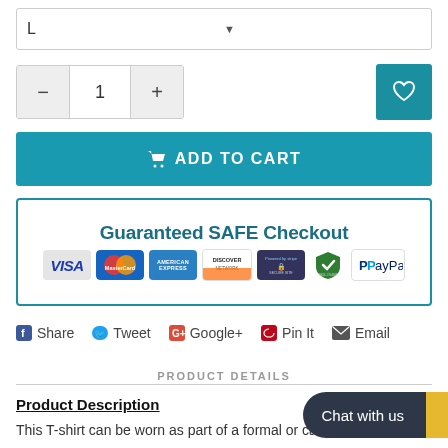L
− 1 +
ADD TO CART
[Figure (infographic): Guaranteed SAFE Checkout banner with payment icons: VISA, MasterCard, American Express, Discover Network, Stripe, Norton, PayPal]
Share  Tweet  Google+  Pin It  Email
PRODUCT DETAILS
Product Description
This T-shirt can be worn as part of a formal or casual outfit. It